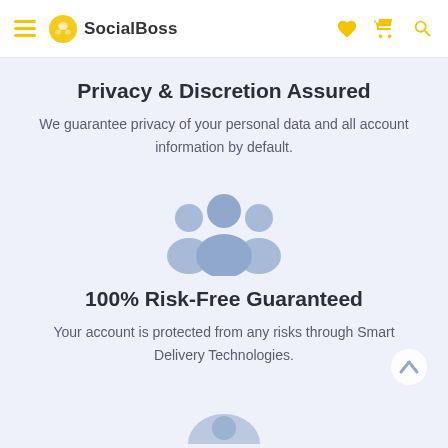SocialBoss
Privacy & Discretion Assured
We guarantee privacy of your personal data and all account information by default.
[Figure (illustration): Three blue silhouette figures representing a group of people]
100% Risk-Free Guaranteed
Your account is protected from any risks through Smart Delivery Technologies.
[Figure (illustration): Partial circular icon visible at the bottom of the page]